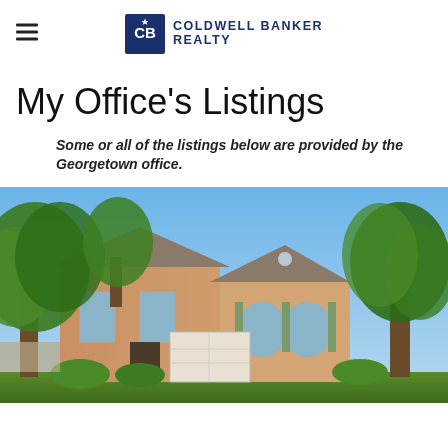Coldwell Banker Realty
My Office's Listings
Some or all of the listings below are provided by the Georgetown office.
[Figure (photo): Exterior photo of a two-story brick house with arched windows, a garage, and large green trees surrounding it under a blue sky.]